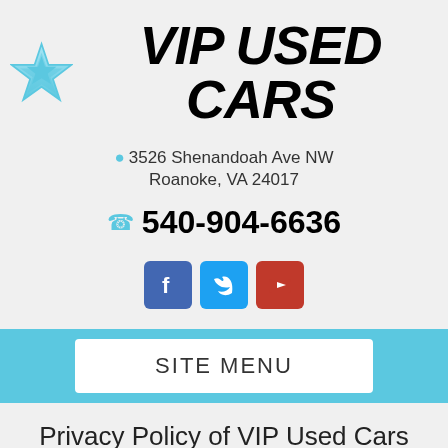[Figure (logo): VIP Used Cars logo with blue star icon and bold italic text VIP USED CARS]
3526 Shenandoah Ave NW
Roanoke, VA 24017
540-904-6636
[Figure (infographic): Social media icons: Facebook (blue), Twitter (light blue), YouTube (red)]
SITE MENU
Privacy Policy of VIP Used Cars
Text Us